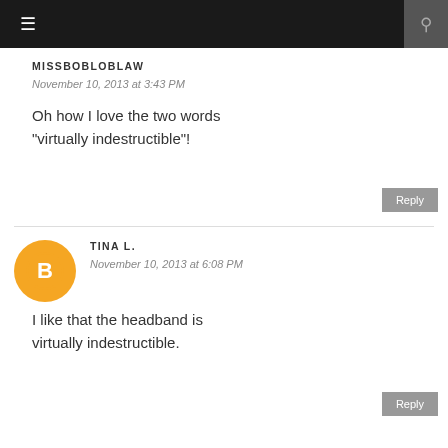≡  🔍
MISSBOBLOBLAW
November 10, 2013 at 3:43 PM
Oh how I love the two words "virtually indestructible"!
Reply
[Figure (illustration): Blogger avatar: orange circle with white 'B' logo]
TINA L.
November 10, 2013 at 6:08 PM
I like that the headband is virtually indestructible.
Reply